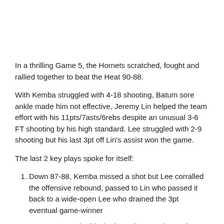In a thrilling Game 5, the Hornets scratched, fought and rallied together to beat the Heat 90-88.
With Kemba struggled with 4-18 shooting, Batum sore ankle made him not effective, Jeremy Lin helped the team effort with his 11pts/7asts/6rebs despite an unusual 3-6 FT shooting by his high standard. Lee struggled with 2-9 shooting but his last 3pt off Lin's assist won the game.
The last 2 key plays spoke for itself:
Down 87-88, Kemba missed a shot but Lee corralled the offensive rebound, passed to Lin who passed it back to a wide-open Lee who drained the 3pt eventual game-winner
Up 90-88, Kemba blocked Dragic's 3pt shot and helped the Hornets retain possession.